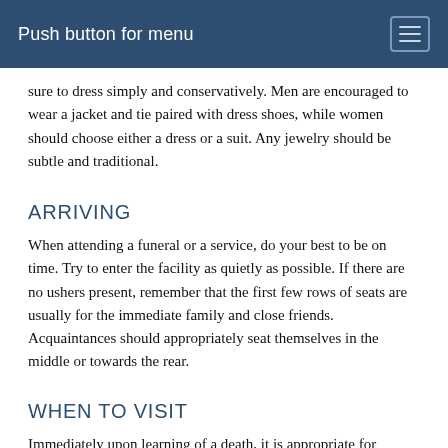Push button for menu
sure to dress simply and conservatively. Men are encouraged to wear a jacket and tie paired with dress shoes, while women should choose either a dress or a suit. Any jewelry should be subtle and traditional.
ARRIVING
When attending a funeral or a service, do your best to be on time. Try to enter the facility as quietly as possible. If there are no ushers present, remember that the first few rows of seats are usually for the immediate family and close friends. Acquaintances should appropriately seat themselves in the middle or towards the rear.
WHEN TO VISIT
Immediately upon learning of a death, it is appropriate for